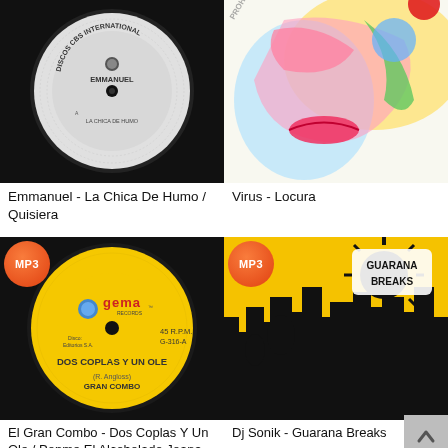[Figure (photo): Vinyl record with Discos CBS International label, Emmanuel - La Chica De Humo / Quisiera]
[Figure (photo): Colorful illustrated album cover - Virus - Locura]
Emmanuel - La Chica De Humo / Quisiera
Virus - Locura
[Figure (photo): Yellow vinyl record with Gema Records label - El Gran Combo Dos Coplas Y Un Ole, with MP3 badge]
[Figure (photo): Guarana Breaks album cover - Dj Sonik, yellow cityscape silhouette, with MP3 badge]
El Gran Combo - Dos Coplas Y Un Ole / Ponme El Alcoholado Joana
Dj Sonik - Guarana Breaks